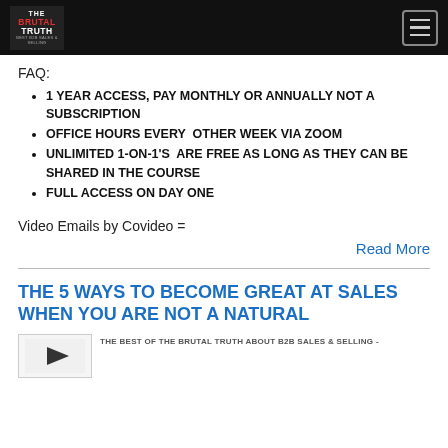THE BRUTAL TRUTH
FAQ:
1 YEAR ACCESS, PAY MONTHLY OR ANNUALLY NOT A SUBSCRIPTION
OFFICE HOURS EVERY OTHER WEEK VIA ZOOM
UNLIMITED 1-ON-1'S ARE FREE AS LONG AS THEY CAN BE SHARED IN THE COURSE
FULL ACCESS ON DAY ONE
Video Emails by Covideo =
Read More
THE 5 WAYS TO BECOME GREAT AT SALES WHEN YOU ARE NOT A NATURAL
THE BEST OF THE BRUTAL TRUTH ABOUT B2B SALES & SELLING -